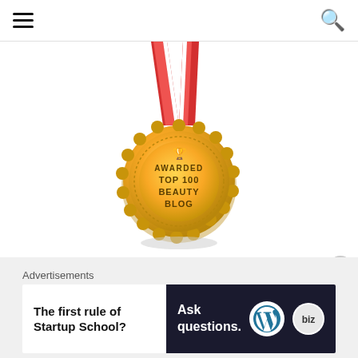Navigation header with hamburger menu and search icon
[Figure (illustration): Gold medal with red and white ribbon hanging from top, text reads 'AWARDED TOP 100 BEAUTY BLOG' with a trophy icon. A shadow is visible beneath the medal.]
[Figure (infographic): Social sharing buttons row: Facebook (blue), Twitter (blue), Pinterest (red with badge '1'), Email (white/grey), Tumblr (dark blue), WhatsApp (green)]
Loading...
Advertisements
[Figure (screenshot): Advertisement banner. Left white side: 'The first rule of Startup School?' in bold. Right dark side: 'Ask questions.' with WordPress logo and another logo icon.]